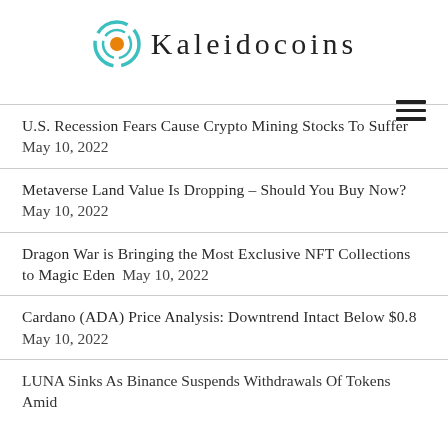Kaleidocoins
U.S. Recession Fears Cause Crypto Mining Stocks To Suffer May 10, 2022
Metaverse Land Value Is Dropping – Should You Buy Now? May 10, 2022
Dragon War is Bringing the Most Exclusive NFT Collections to Magic Eden May 10, 2022
Cardano (ADA) Price Analysis: Downtrend Intact Below $0.8 May 10, 2022
LUNA Sinks As Binance Suspends Withdrawals Of Tokens Amid